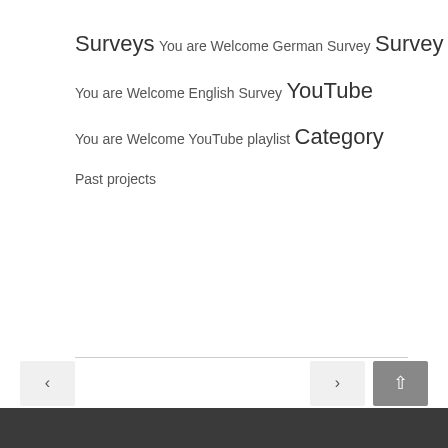Surveys
You are Welcome German Survey
Survey
You are Welcome English Survey
YouTube
You are Welcome YouTube playlist
Category
Past projects